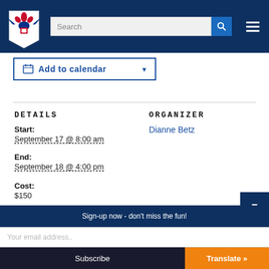Boy Scouts of America website header with logo, search bar, and navigation menu
Add to calendar
DETAILS
ORGANIZER
Start:
September 17 @ 8:00 am
Dianne Betz
End:
September 18 @ 4:00 pm
Cost:
$150
Sign-up now - don't miss the fun!
Your email address..
Subscribe
Translate »